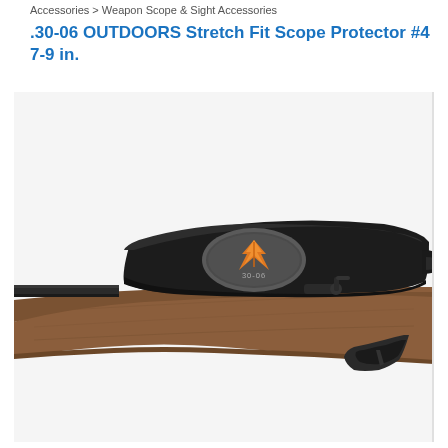Accessories > Weapon Scope & Sight Accessories
.30-06 OUTDOORS Stretch Fit Scope Protector #4 7-9 in.
[Figure (photo): A black neoprene stretch fit rifle scope cover/protector with an oval logo patch featuring an orange and grey design, sitting on a wooden-stocked hunting rifle. The scope cover is mounted on the scope of a bolt-action rifle with a wooden stock.]